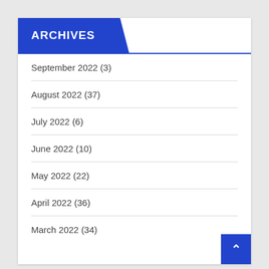ARCHIVES
September 2022 (3)
August 2022 (37)
July 2022 (6)
June 2022 (10)
May 2022 (22)
April 2022 (36)
March 2022 (34)